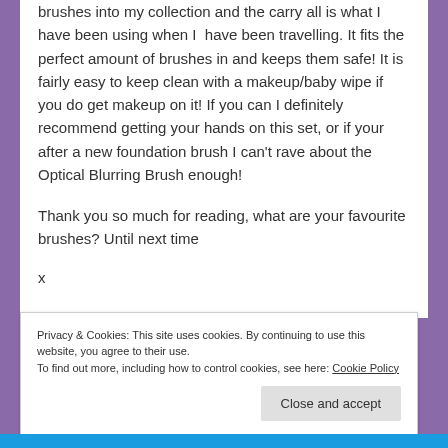brushes into my collection and the carry all is what I have been using when I have been travelling. It fits the perfect amount of brushes in and keeps them safe! It is fairly easy to keep clean with a makeup/baby wipe if you do get makeup on it! If you can I definitely recommend getting your hands on this set, or if your after a new foundation brush I can't rave about the Optical Blurring Brush enough!
Thank you so much for reading, what are your favourite brushes? Until next time
x
Privacy & Cookies: This site uses cookies. By continuing to use this website, you agree to their use. To find out more, including how to control cookies, see here: Cookie Policy